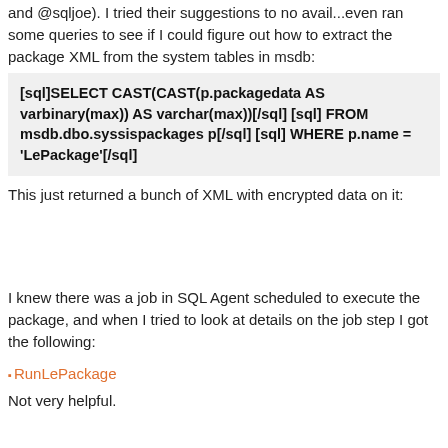and @sqljoe). I tried their suggestions to no avail...even ran some queries to see if I could figure out how to extract the package XML from the system tables in msdb:
[sql]SELECT CAST(CAST(p.packagedata AS varbinary(max)) AS varchar(max))[/sql] [sql] FROM msdb.dbo.syssispackages p[/sql] [sql] WHERE p.name = 'LePackage'[/sql]
This just returned a bunch of XML with encrypted data on it:
[Figure (screenshot): Empty area where an image of encrypted XML output would appear]
I knew there was a job in SQL Agent scheduled to execute the package, and when I tried to look at details on the job step I got the following:
[Figure (screenshot): Broken image link labeled 'RunLePackage']
Not very helpful.